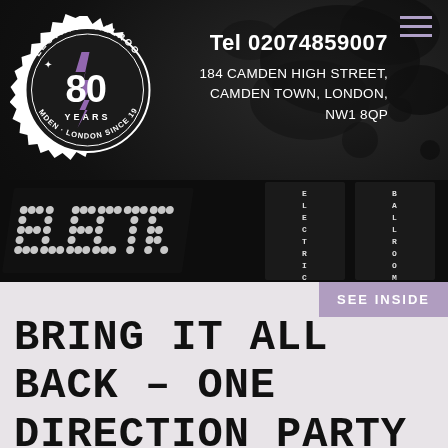[Figure (logo): Electric Ballroom 80 Years logo — circular badge with spiky edge, lightning bolt, text 'ELECTRIC BALLROOM' around top arc, '80 YEARS' in center, 'CAMDEN LONDON SINCE 1938' around bottom arc]
Tel 02074859007
184 CAMDEN HIGH STREET, CAMDEN TOWN, LONDON, NW1 8QP
[Figure (photo): Dark photo of illuminated marquee letters spelling 'ELECTRIC BALLROOM' with dot-matrix bulb lights, taken at an angle in a dark venue]
SEE INSIDE
BRING IT ALL BACK – ONE DIRECTION PARTY